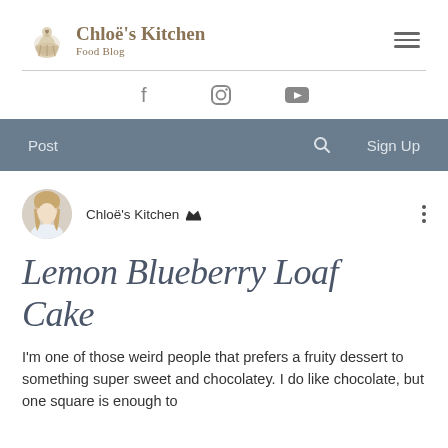Chloë's Kitchen — Food Blog
[Figure (logo): Chloë's Kitchen food blog logo with cupcake icon, site title and Food Blog subtitle, and hamburger menu icon]
[Figure (infographic): Social media icons: Facebook, Instagram, YouTube]
[Figure (infographic): Navigation bar with Post, search icon, and Sign Up links on a blue-grey background]
[Figure (photo): Circular avatar photo of a blonde woman]
Chloë's Kitchen 👑
Lemon Blueberry Loaf Cake
I'm one of those weird people that prefers a fruity dessert to something super sweet and chocolatey. I do like chocolate, but one square is enough to satisfy a craving. And don't get...